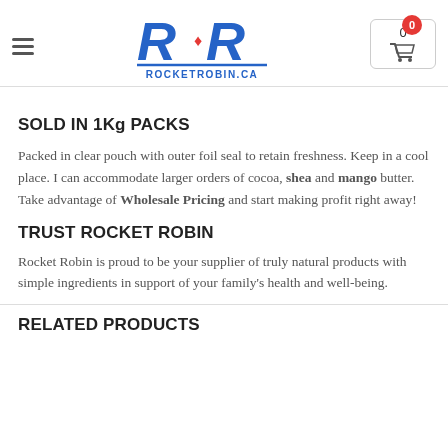ROCKETROBIN.CA
SOLD IN 1Kg PACKS
Packed in clear pouch with outer foil seal to retain freshness. Keep in a cool place. I can accommodate larger orders of cocoa, shea and mango butter. Take advantage of Wholesale Pricing and start making profit right away!
TRUST ROCKET ROBIN
Rocket Robin is proud to be your supplier of truly natural products with simple ingredients in support of your family's health and well-being.
RELATED PRODUCTS